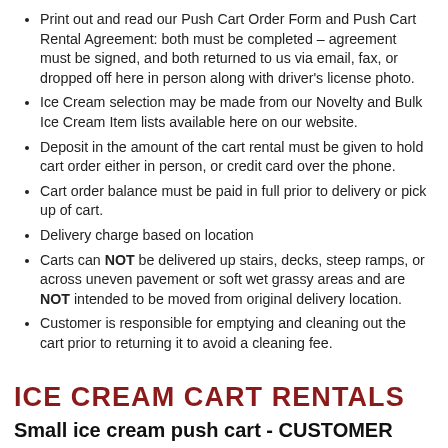Print out and read our Push Cart Order Form and Push Cart Rental Agreement: both must be completed – agreement must be signed, and both returned to us via email, fax, or dropped off here in person along with driver's license photo.
Ice Cream selection may be made from our Novelty and Bulk Ice Cream Item lists available here on our website.
Deposit in the amount of the cart rental must be given to hold cart order either in person, or credit card over the phone.
Cart order balance must be paid in full prior to delivery or pick up of cart.
Delivery charge based on location
Carts can NOT be delivered up stairs, decks, steep ramps, or across uneven pavement or soft wet grassy areas and are NOT intended to be moved from original delivery location.
Customer is responsible for emptying and cleaning out the cart prior to returning it to avoid a cleaning fee.
ICE CREAM CART RENTALS
Small ice cream push cart - CUSTOMER